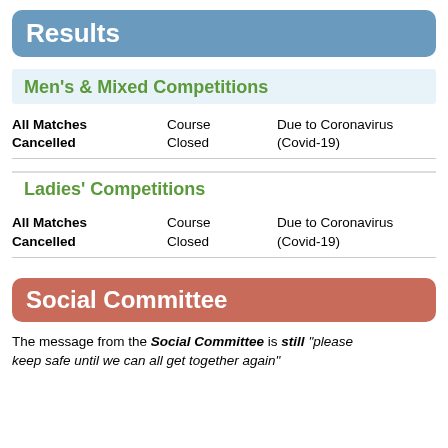Results
Men's & Mixed Competitions
|  |  |  |
| --- | --- | --- |
| All Matches Cancelled | Course Closed | Due to Coronavirus (Covid-19) |
Ladies' Competitions
|  |  |  |
| --- | --- | --- |
| All Matches Cancelled | Course Closed | Due to Coronavirus (Covid-19) |
Social Committee
The message from the Social Committee is still "please keep safe until we can all get together again"